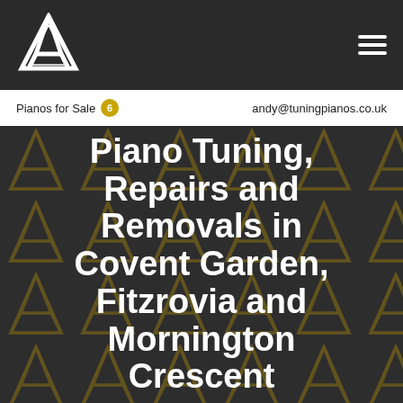[Figure (logo): Triangular mountain/piano logo in white on dark background]
Pianos for Sale 6  andy@tuningpianos.co.uk
Piano Tuning, Repairs and Removals in Covent Garden, Fitzrovia and Mornington Crescent